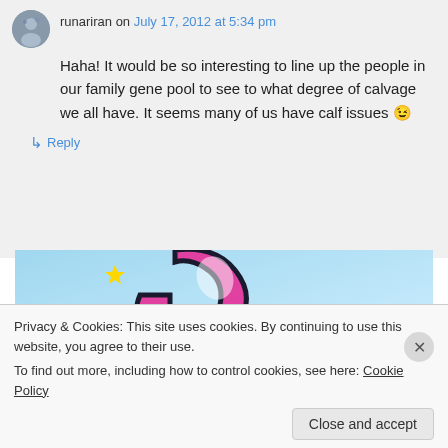runariran on July 17, 2012 at 5:34 pm
Haha! It would be so interesting to line up the people in our family gene pool to see to what degree of calvage we all have. It seems many of us have calf issues 😉
↳ Reply
[Figure (illustration): Partial view of an advertisement banner with a pink/magenta curved shape resembling a letter G against a blue sky background with yellow sparkle stars]
Privacy & Cookies: This site uses cookies. By continuing to use this website, you agree to their use.
To find out more, including how to control cookies, see here: Cookie Policy
Close and accept